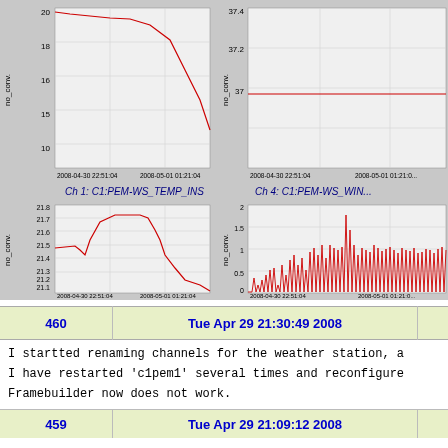[Figure (continuous-plot): Four time-series plots on gray background. Top-left: Ch 1: C1:PEM-WS_TEMP_INS, y-axis 10-20 no_conv., x-axis 2008-04-30 22:51:04 to 2008-05-01 01:21:04, declining red line from ~20 to ~15. Top-right: Ch 4: C1:PEM-WS_WIN..., y-axis 37-37.4 no_conv., flat red line at ~37. Bottom-left: unlabeled channel, y-axis 21.1-21.8 no_conv., red line with peak around 21.7 then declining. Bottom-right: unlabeled channel, y-axis 0-2 no_conv., spiky red signal 0-1.75.]
Ch 1: C1:PEM-WS_TEMP_INS
Ch 4: C1:PEM-WS_WIN...
| 460 | Tue Apr 29 21:30:49 2008 |  |
| --- | --- | --- |
| I startted renaming channels for the weather station, a |
| I have restarted 'c1pem1' several times and reconfigure |
| Framebuilder now does not work. |
| 459 | Tue Apr 29 21:09:12 2008 |  |